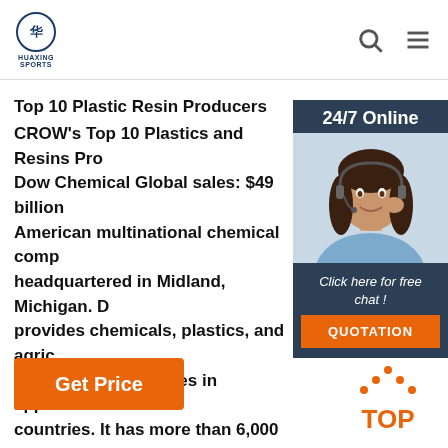HUAXING SPORTS | Search | Menu
Top 10 Plastic Resin Producers
CROW's Top 10 Plastics and Resins Pro... Dow Chemical Global sales: $49 billion American multinational chemical comp headquartered in Midland, Michigan. D provides chemicals, plastics, and agric products and operates in approximate countries. It has more than 6,000 prod that are manufactured at 179 sites ...
[Figure (other): 24/7 Online chat widget with photo of woman with headset, 'Click here for free chat!' text and QUOTATION button]
[Figure (logo): Orange dotted TOP button/icon in bottom right corner]